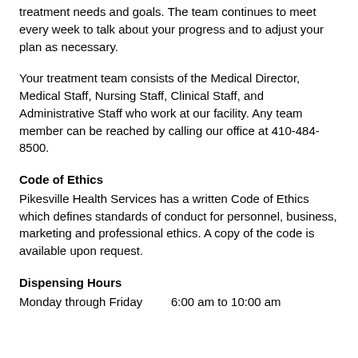treatment needs and goals. The team continues to meet every week to talk about your progress and to adjust your plan as necessary.
Your treatment team consists of the Medical Director, Medical Staff, Nursing Staff, Clinical Staff, and Administrative Staff who work at our facility. Any team member can be reached by calling our office at 410-484-8500.
Code of Ethics
Pikesville Health Services has a written Code of Ethics which defines standards of conduct for personnel, business, marketing and professional ethics. A copy of the code is available upon request.
Dispensing Hours
Monday through Friday     6:00 am to 10:00 am